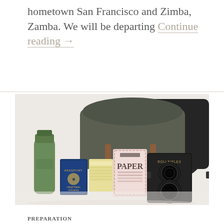hometown San Francisco and Zimba, Zamba. We will be departing Continue reading →
[Figure (photo): A flat-lay travel photo showing a dark green/olive canvas messenger bag, a green water bottle, a US passport, a yellow vaccination/document card, a pink PAPER notebook/journal, and a Rolleiflex twin-lens reflex camera arranged on a white surface.]
PREPARATION